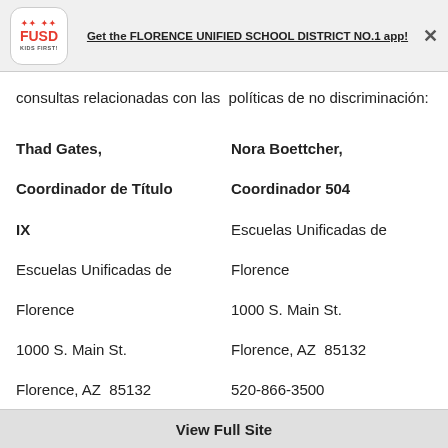[Figure (logo): FUSD Kids First logo — red square with rounded corners, colorful dots above, FUSD text in red, KIDS FIRST below]
Get the FLORENCE UNIFIED SCHOOL DISTRICT NO.1 app!
consultas relacionadas con las  políticas de no discriminación:
Thad Gates, Coordinador de Título IX
Escuelas Unificadas de Florence
1000 S. Main St.
Florence, AZ  85132
520-866-3500
tgates@fusdaz.org
Nora Boettcher, Coordinador 504
Escuelas Unificadas de Florence
1000 S. Main St.
Florence, AZ  85132
520-866-3500
nboettcher@fusdaz.org
View Full Site